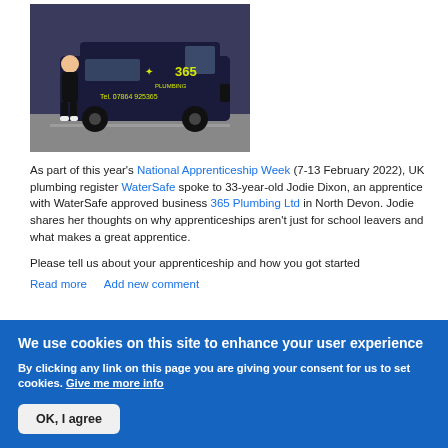[Figure (photo): Photo of Jodie Dixon standing in front of a dark navy 365 Plumbing van. The van has a yellow logo reading '365 Plumbing' and shows 'Tel: 07864 925365'. The person is wearing black uniform.]
As part of this year's National Apprenticeship Week (7-13 February 2022), UK plumbing register WaterSafe spoke to 33-year-old Jodie Dixon, an apprentice with WaterSafe approved business 365 Plumbing Ltd in North Devon. Jodie shares her thoughts on why apprenticeships aren't just for school leavers and what makes a great apprentice.
Please tell us about your apprenticeship and how you got started
Read more   Add new comment
We use cookies on this site to enhance your user experience
By clicking any link on this page you are giving your consent for us to set cookies. Give me more info
OK, I agree